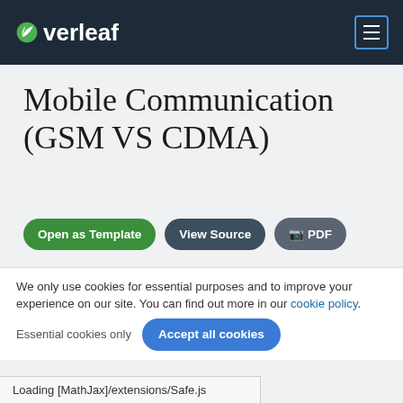[Figure (logo): Overleaf logo with leaf icon in dark navy header bar, with hamburger menu icon on the right]
Mobile Communication (GSM VS CDMA)
[Figure (screenshot): Three buttons: 'Open as Template' (green), 'View Source' (dark gray), and a PDF button (dark gray)]
Author
M.A.K. Ripon
We only use cookies for essential purposes and to improve your experience on our site. You can find out more in our cookie policy.
Loading [MathJax]/extensions/Safe.js